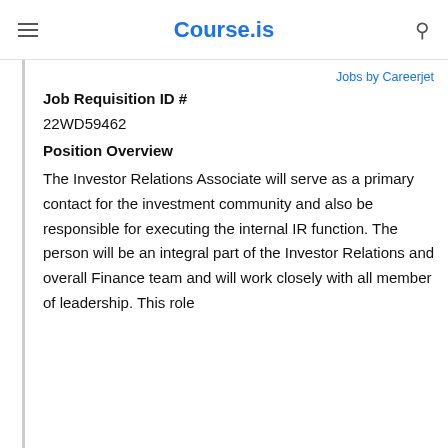Course.is
Jobs by Careerjet
Job Requisition ID #
22WD59462
Position Overview
The Investor Relations Associate will serve as a primary contact for the investment community and also be responsible for executing the internal IR function. The person will be an integral part of the Investor Relations and overall Finance team and will work closely with all member of leadership. This role